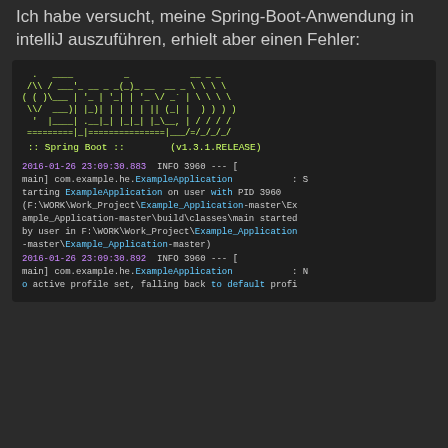Ich habe versucht, meine Spring-Boot-Anwendung in intelliJ auszuführen, erhielt aber einen Fehler:
[Figure (screenshot): Terminal output showing Spring Boot ASCII art banner and startup log messages with colored syntax highlighting on dark background]
2016-01-26 23:09:30.883  INFO 3960 --- [ main] com.example.he.ExampleApplication           : Starting ExampleApplication on user with PID 3960 (F:\WORK\Work_Project\Example_Application-master\Example_Application-master\build\classes\main started by user in F:\WORK\Work_Project\Example_Application-master\Example_Application-master)
2016-01-26 23:09:30.892  INFO 3960 --- [ main] com.example.he.ExampleApplication           : No active profile set, falling back to default profi